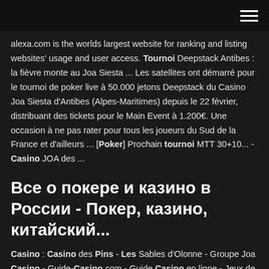[hamburger menu icon]
alexa.com is the worlds largest website for ranking and listing websites' usage and user access. Tournoi Deepstack Antibes : la fièvre monte au Joa Siesta ... Les satellites ont démarré pour le tournoi de poker live à 50.000 jetons Deepstack du Casino Joa Siesta d'Antibes (Alpes-Maritimes) depuis le 22 février, distribuant des tickets pour le Main Event à 1.200€. Une occasion à ne pas rater pour tous les joueurs du Sud de la France et d'ailleurs ... [Poker] Prochain tournoi MTT 30+10... - Casino JOA des ...
Все о покере и казино в России - Покер, казино, китайский...
Casino : Casino des Pins - Les Sables d'Olonne - Groupe Joa Casino - Guide-Casino.com - Guide Casino en ligne - Jeux de